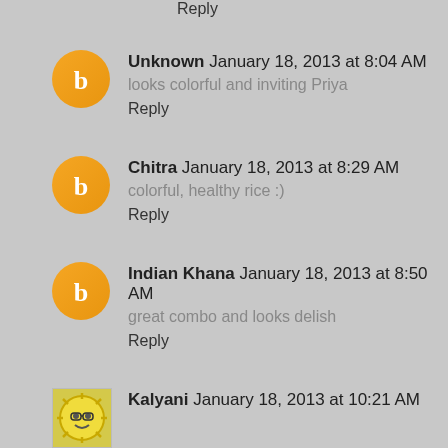Reply
Unknown January 18, 2013 at 8:04 AM
looks colorful and inviting Priya
Reply
Chitra January 18, 2013 at 8:29 AM
colorful, healthy rice :)
Reply
Indian Khana January 18, 2013 at 8:50 AM
great combo and looks delish
Reply
Kalyani January 18, 2013 at 10:21 AM